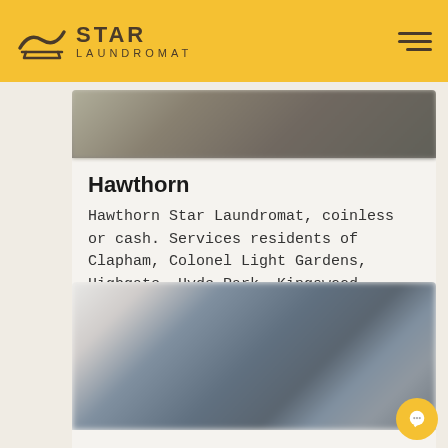Star Laundromat
[Figure (photo): Blurred image at top of Hawthorn card]
Hawthorn
Hawthorn Star Laundromat, coinless or cash. Services residents of Clapham, Colonel Light Gardens, Highgate, Hyde Park, Kingswood, Malvern, Mitcham.
[Figure (photo): Blurred exterior photo for Kilkenny location]
Kilkenny